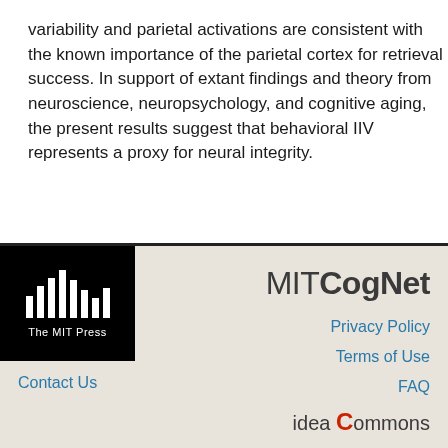variability and parietal activations are consistent with the known importance of the parietal cortex for retrieval success. In support of extant findings and theory from neuroscience, neuropsychology, and cognitive aging, the present results suggest that behavioral IIV represents a proxy for neural integrity.
[Figure (logo): The MIT Press logo: black rectangle with white vertical bars of varying heights and the text 'The MIT Press' in white below]
[Figure (logo): MITCogNet text logo with 'MIT' in regular weight and 'CogNet' in bold, dark gray color]
Privacy Policy
Terms of Use
Contact Us
FAQ
[Figure (logo): idea Commons logo with 'idea' in dark text, a red circular C, and 'ommons' in dark text]